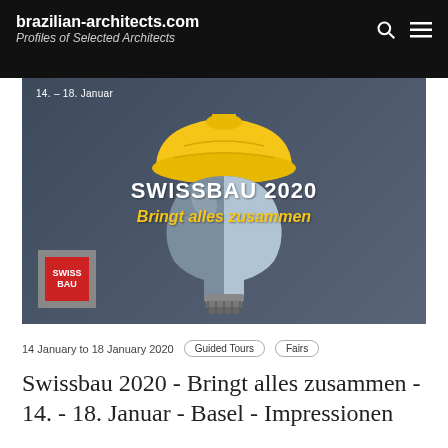brazilian-architects.com Profiles of Selected Architects
[Figure (illustration): Swissbau 2020 promotional banner with a light bulb wearing a yellow construction hard hat, on a dark blue-grey background. Text: '14. – 18. Januar', 'SWISSBAU 2020', 'Bringt alles zusammen'. Swiss Bau logo in bottom left.]
14 January to 18 January 2020   Guided Tours   Fairs
Swissbau 2020 - Bringt alles zusammen - 14. - 18. Januar - Basel - Impressionen